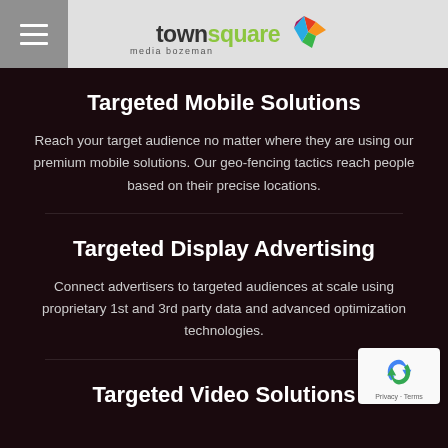townsquare media bozeman
Targeted Mobile Solutions
Reach your target audience no matter where they are using our premium mobile solutions. Our geo-fencing tactics reach people based on their precise locations.
Targeted Display Advertising
Connect advertisers to targeted audiences at scale using proprietary 1st and 3rd party data and advanced optimization technologies.
Targeted Video Solutions